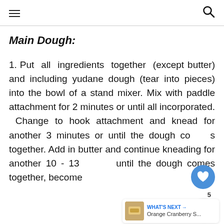≡ [hamburger menu] | [search icon]
Main Dough:
Put all ingredients together (except butter) and including yudane dough (tear into pieces) into the bowl of a stand mixer. Mix with paddle attachment for 2 minutes or until all incorporated. Change to hook attachment and knead for another 3 minutes or until the dough comes together. Add in butter and continue kneading for another 10 - 13 until the dough comes together, become